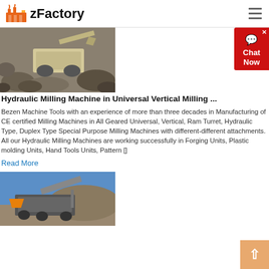zFactory
[Figure (photo): Mining/quarry machinery on rocky terrain, outdoor industrial setting]
Hydraulic Milling Machine in Universal Vertical Milling ...
Bezen Machine Tools with an experience of more than three decades in Manufacturing of CE certified Milling Machines in All Geared Universal, Vertical, Ram Turret, Hydraulic Type, Duplex Type Special Purpose Milling Machines with different-different attachments. All our Hydraulic Milling Machines are working successfully in Forging Units, Plastic molding Units, Hand Tools Units, Pattern []
Read More
[Figure (photo): Heavy industrial crushing/screening machinery outdoors at a quarry site]